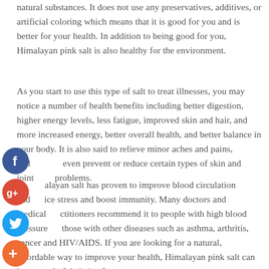natural substances. It does not use any preservatives, additives, or artificial coloring which means that it is good for you and is better for your health. In addition to being good for you, Himalayan pink salt is also healthy for the environment.
As you start to use this type of salt to treat illnesses, you may notice a number of health benefits including better digestion, higher energy levels, less fatigue, improved skin and hair, and more increased energy, better overall health, and better balance in your body. It is also said to relieve minor aches and pains, and even prevent or reduce certain types of skin and joint problems.
Himalayan salt has proven to improve blood circulation and reduce stress and boost immunity. Many doctors and medical practitioners recommend it to people with high blood pressure and those with other diseases such as asthma, arthritis, cancer and HIV/AIDS. If you are looking for a natural, affordable way to improve your health, Himalayan pink salt can be a wonderful choice for you.
[Figure (other): Facebook share button icon (blue circle with white 'f')]
[Figure (other): Google+ share button icon (red circle with white 'g+')]
[Figure (other): Twitter share button icon (blue circle with white bird logo)]
[Figure (other): AddThis share button icon (orange circle with white '+')]